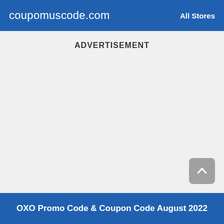coupomuscode.com   All Stores
ADVERTISEMENT
OXO Promo Code & Coupon Code August 2022